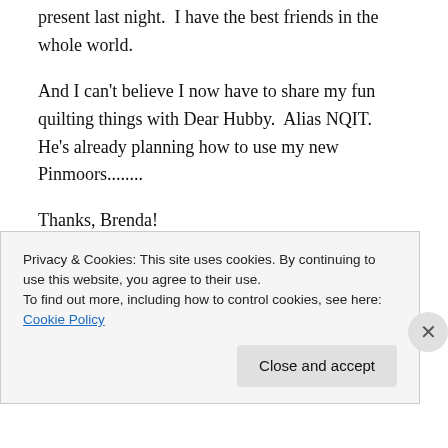present last night.  I have the best friends in the whole world.
And I can't believe I now have to share my fun quilting things with Dear Hubby.  Alias NQIT.  He's already planning how to use my new Pinmoors........
Thanks, Brenda!
Hugs,
Barb
P.S.  For those new to the blog…  NQIT = New Quilter In
Privacy & Cookies: This site uses cookies. By continuing to use this website, you agree to their use.
To find out more, including how to control cookies, see here: Cookie Policy
[Close and accept]